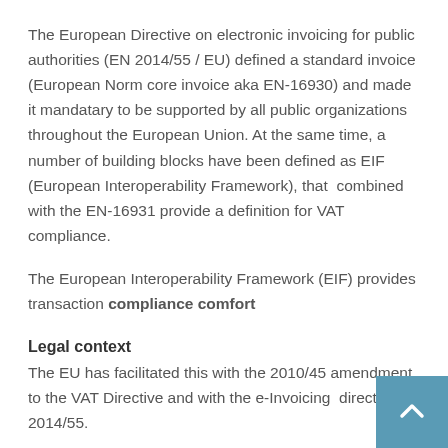The European Directive on electronic invoicing for public authorities (EN 2014/55 / EU) defined a standard invoice (European Norm core invoice aka EN-16930) and made it mandatary to be supported by all public organizations throughout the European Union. At the same time, a number of building blocks have been defined as EIF (European Interoperability Framework), that  combined with the EN-16931 provide a definition for VAT compliance.
The European Interoperability Framework (EIF) provides transaction compliance comfort
Legal context
The EU has facilitated this with the 2010/45 amendment to the VAT Directive and with the e-Invoicing  directive 2014/55.